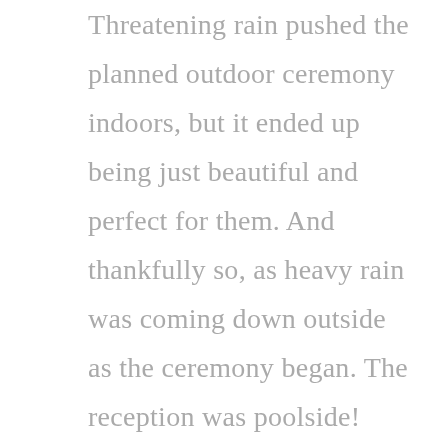Threatening rain pushed the planned outdoor ceremony indoors, but it ended up being just beautiful and perfect for them. And thankfully so, as heavy rain was coming down outside as the ceremony began. The reception was poolside! Casual and absolutely gorgeous. A few of my favorite things from the day:

+ The inside of Jesse's custom suit jacket was lined with pictures of the two of them.